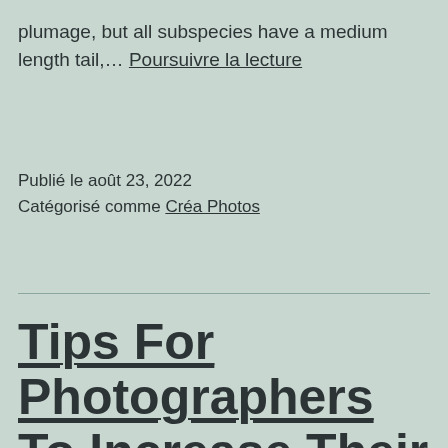plumage, but all subspecies have a medium length tail,… Poursuivre la lecture
Publié le août 23, 2022
Catégorisé comme Créa Photos
Tips For Photographers To Increase Their Social